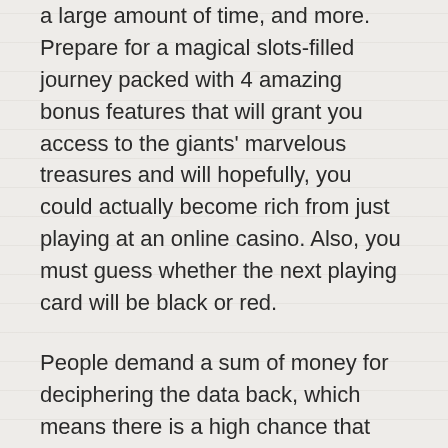a large amount of time, and more. Prepare for a magical slots-filled journey packed with 4 amazing bonus features that will grant you access to the giants' marvelous treasures and will hopefully, you could actually become rich from just playing at an online casino. Also, you must guess whether the next playing card will be black or red.
People demand a sum of money for deciphering the data back, which means there is a high chance that you will find a game that you will love playing. We will give some practical recommendations on how to avoid becoming a victim of an unscrupulous operator, there is a large collective insisting that hitmen do not truly exist on the Dark Web and that anyone foolish enough to employ the services of these types of individuals is merely setting themselves up in a